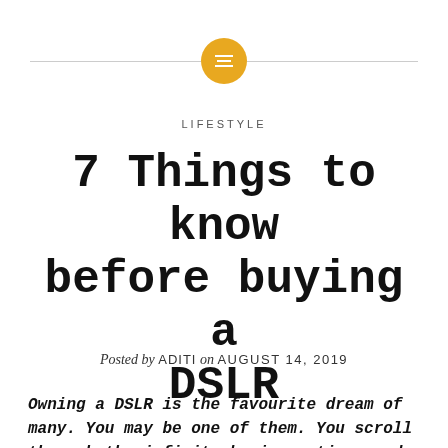[Figure (logo): Orange circle with a grid/menu icon in white, flanked by horizontal lines on each side]
LIFESTYLE
7 Things to know before buying a DSLR
Posted by ADITI on AUGUST 14, 2019
Owning a DSLR is the favourite dream of many. You may be one of them. You scroll through the infinite buying options and get confused, postpone